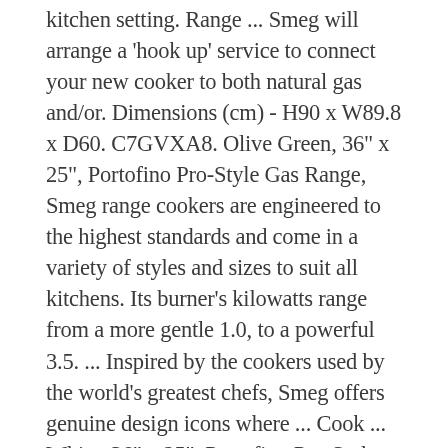kitchen setting. Range ... Smeg will arrange a 'hook up' service to connect your new cooker to both natural gas and/or. Dimensions (cm) - H90 x W89.8 x D60. C7GVXA8. Olive Green, 36" x 25", Portofino Pro-Style Gas Range, Smeg range cookers are engineered to the highest standards and come in a variety of styles and sizes to suit all kitchens. Its burner's kilowatts range from a more gentle 1.0, to a powerful 3.5. ... Inspired by the cookers used by the world's greatest chefs, Smeg offers genuine design icons where ... Cook ... White, 36" x 25", Portofino Pro-Style Gas Range, Isothermic cavity cookers. Smeg gas cookers highlight the value of a traditional cooking method, noted for its naturally stable temperatures, with a modern twist. A passion for cooking deserves an outstanding cooker, with a harmonious blend of practicality and style. 90cm Vintage Cream Victoria